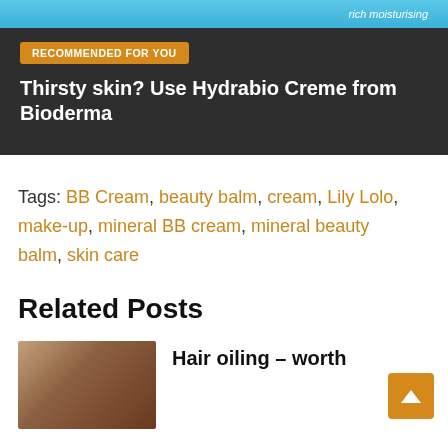[Figure (screenshot): Advertisement banner with dark background. Top strip shows 'rich moisturising' text. Badge reads 'RECOMMENDED FOR YOU'. Title: 'Thirsty skin? Use Hydrabio Creme from Bioderma']
Tags: BB Cream, beauty balm, cream, Lily Lolo, make-up, mineral BB cream, mineral beauty balm, skin care
Related Posts
Hair oiling – worth